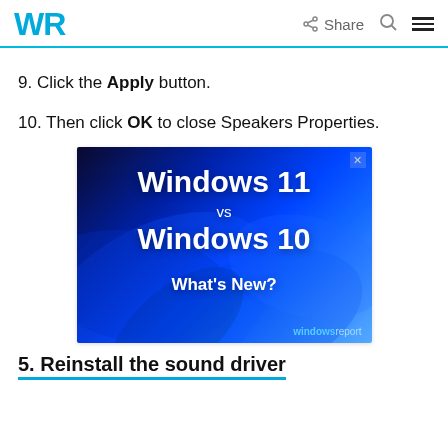WR | Share | Search | Menu
9. Click the Apply button.
10. Then click OK to close Speakers Properties.
[Figure (illustration): Advertisement banner showing 'Windows 11 vs Windows 10 What's New?' over a blue swirling Windows logo background, with windowsreport branding.]
5. Reinstall the sound driver